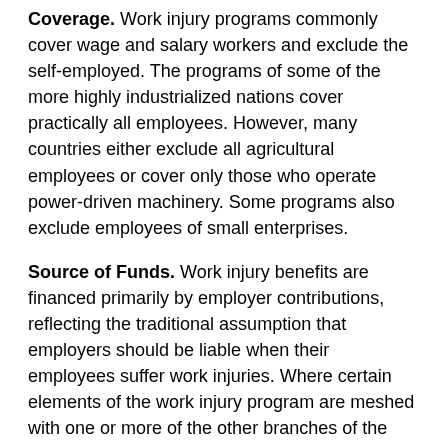Coverage. Work injury programs commonly cover wage and salary workers and exclude the self-employed. The programs of some of the more highly industrialized nations cover practically all employees. However, many countries either exclude all agricultural employees or cover only those who operate power-driven machinery. Some programs also exclude employees of small enterprises.
Source of Funds. Work injury benefits are financed primarily by employer contributions, reflecting the traditional assumption that employers should be liable when their employees suffer work injuries. Where certain elements of the work injury program are meshed with one or more of the other branches of the social insurance system, however, financing usually involves contributions from employees, employers, and the government. Another exception occurs in countries that provide medical treatment for work-connected illnesses under their ordinary public medical care programs.
Work Injury Benefits. Work injury programs provide cash benefits and medical benefits. Cash benefits under work injury programs may be subdivided into three types: benefits for temporary disability, those for permanent total disability, and